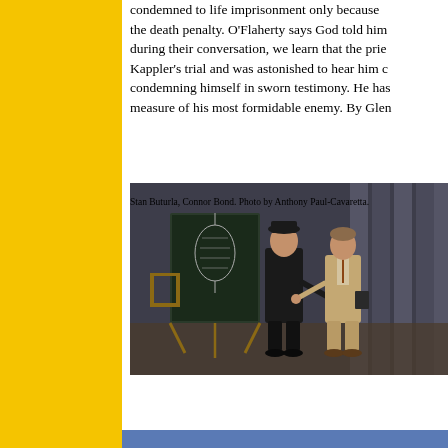condemned to life imprisonment only because the death penalty. O'Flaherty says God told him during their conversation, we learn that the prie Kappler's trial and was astonished to hear him c condemning himself in sworn testimony. He has measure of his most formidable enemy. By Glen
[Figure (photo): Two men on a stage set — one dressed in black clergy/priest clothing and dark hat, the other in a tan/brown suit — shaking hands or speaking, with a chalkboard easel visible in the background showing a sketch of a birdcage or lantern.]
Stan Buturla, Connor Bond. Photo by Anthony Paul-Cavaretta.